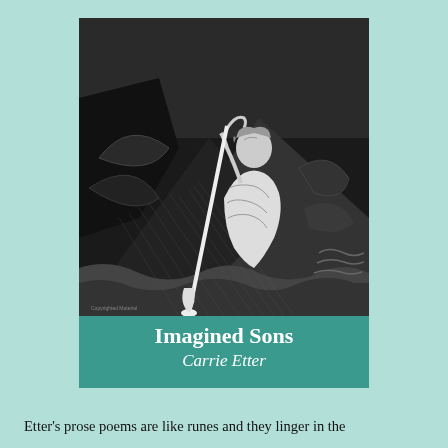[Figure (illustration): Book cover of 'Imagined Sons' by Carrie Etter. Black and white illustration of a woman in flowing dress holding a long oar or paddle, with dramatic waves and abstract elements in the background. Teal/turquoise banner at the bottom with white text showing title and author.]
Etter's prose poems are like runes and they linger in the